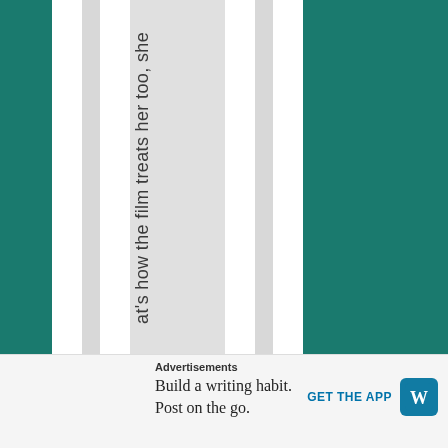at's how the film treats her too, she
Advertisements
Build a writing habit. Post on the go.
GET THE APP